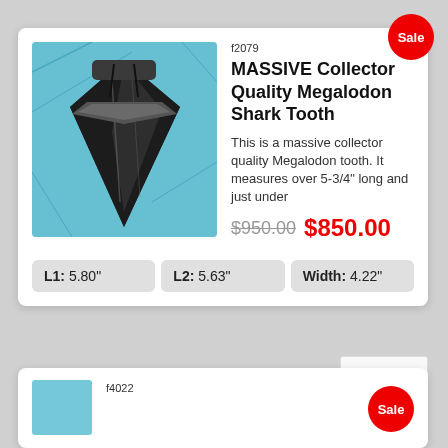[Figure (photo): Photo of a large dark fossilized Megalodon shark tooth on a blue fabric background]
f2079
MASSIVE Collector Quality Megalodon Shark Tooth
This is a massive collector quality Megalodon tooth. It measures over 5-3/4" long and just under
$950.00 $850.00
| L1 | L2 | Width |
| --- | --- | --- |
| 5.80" | 5.63" | 4.22" |
f4022